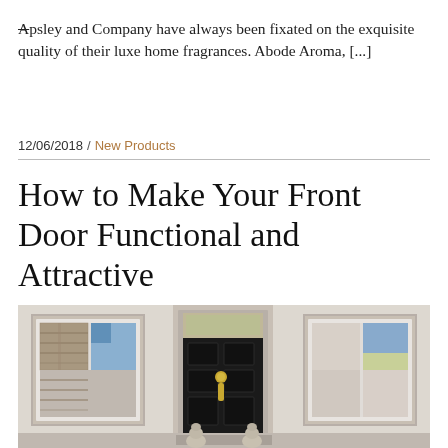Apsley and Company have always been fixated on the exquisite quality of their luxe home fragrances. Abode Aroma, [...]
12/06/2018 / New Products
How to Make Your Front Door Functional and Attractive
[Figure (photo): Photograph of a house facade showing a black front door with gold knocker, flanked by two white-framed windows and two small stone lion statues at the doorstep, against a cream/white exterior wall.]